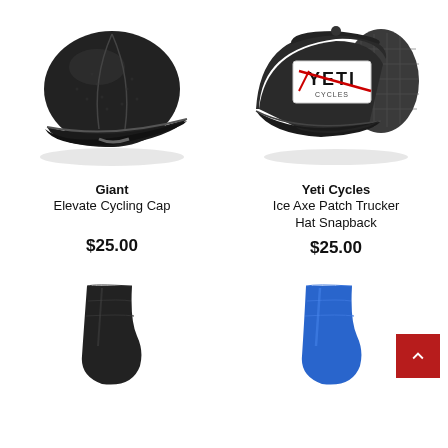[Figure (photo): Black cycling cap (Giant Elevate), low profile with short brim, textured fabric]
Giant
Elevate Cycling Cap
$25.00
[Figure (photo): Black trucker hat with Yeti Cycles Ice Axe patch on front, mesh back, snapback closure]
Yeti Cycles
Ice Axe Patch Trucker Hat Snapback
$25.00
[Figure (photo): Black sock, ankle cut, bottom portion visible]
[Figure (photo): Blue sock, ankle cut, bottom portion visible]